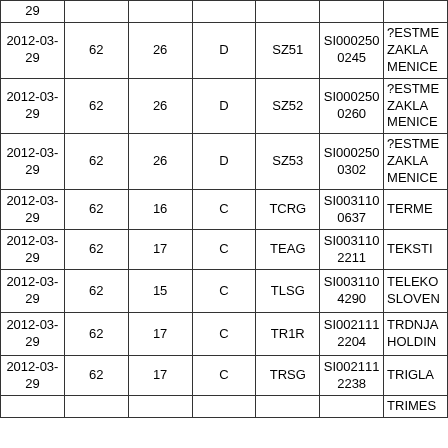| Date | Col2 | Col3 | Col4 | Col5 | Col6 | Name |
| --- | --- | --- | --- | --- | --- | --- |
|  |  |  |  |  |  |  |
| 2012-03-29 | 62 | 26 | D | SZ51 | SI0002500245 | ?ESTME ZAKLA MENICE |
| 2012-03-29 | 62 | 26 | D | SZ52 | SI0002500260 | ?ESTME ZAKLA MENICE |
| 2012-03-29 | 62 | 26 | D | SZ53 | SI0002500302 | ?ESTME ZAKLA MENICE |
| 2012-03-29 | 62 | 16 | C | TCRG | SI0031100637 | TERME |
| 2012-03-29 | 62 | 17 | C | TEAG | SI0031102211 | TEKSTI |
| 2012-03-29 | 62 | 15 | C | TLSG | SI0031104290 | TELEKO SLOVEN |
| 2012-03-29 | 62 | 17 | C | TR1R | SI0021112204 | TRDNJA HOLDIN |
| 2012-03-29 | 62 | 17 | C | TRSG | SI0021112238 | TRIGLA |
|  |  |  |  |  |  | TRIMES |